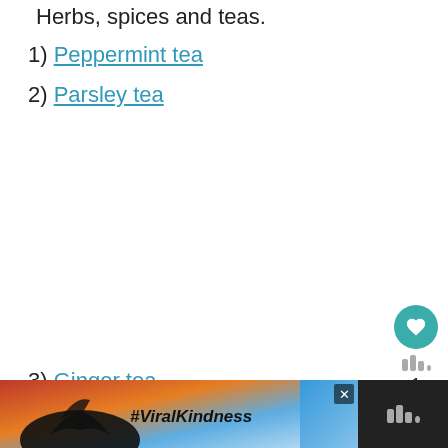Herbs, spices and teas.
1) Peppermint tea
2) Parsley tea
3) Ginger tea
4) Green tea
5) L...
6) G...
[Figure (screenshot): UI overlay with heart/favorite button showing count 1, share button, and Whatsapp-style logo bars]
[Figure (photo): Ad banner: dark silhouette of hands forming heart shape against sunset sky with #ViralKindness text, close button, and dark right panel with logo bars]